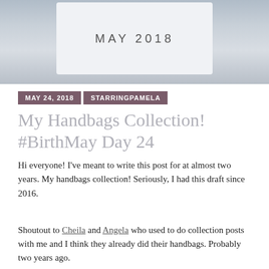[Figure (photo): Header image of a calendar or planner card showing 'MAY 2018' in letter-spaced text, set against a blue-grey background]
MAY 24, 2018   STARRINGPAMELA
My Handbags Collection! #BirthMay Day 24
Hi everyone! I've meant to write this post for at almost two years. My handbags collection! Seriously, I had this draft since 2016.
Shoutout to Cheila and Angela who used to do collection posts with me and I think they already did their handbags. Probably two years ago.
You might be wondering, "why is that American saying